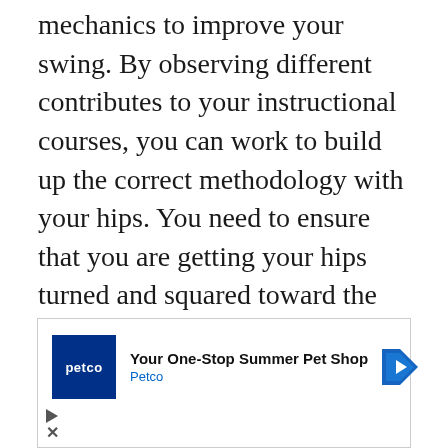mechanics to improve your swing. By observing different contributes to your instructional courses, you can work to build up the correct methodology with your hips. You need to ensure that you are getting your hips turned and squared toward the pitcher as you are swinging the bat through the zone. This will assist you with swinging through the ball and drive it. Utilizing pitching machines will give you the advantage of seeing the same number of pitches as you have to get your swing right, without stressing over a mentor or pitcher's
[Figure (other): Petco advertisement banner: 'Your One-Stop Summer Pet Shop' with Petco logo, blue navigation arrow icon, play button and close X controls]